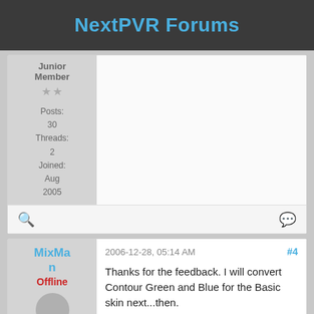NextPVR Forums
Junior Member
★★
Posts: 30
Threads: 2
Joined: Aug 2005
MixMan
Offline
2006-12-28, 05:14 AM  #4
Thanks for the feedback. I will convert Contour Green and Blue for the Basic skin next...then.